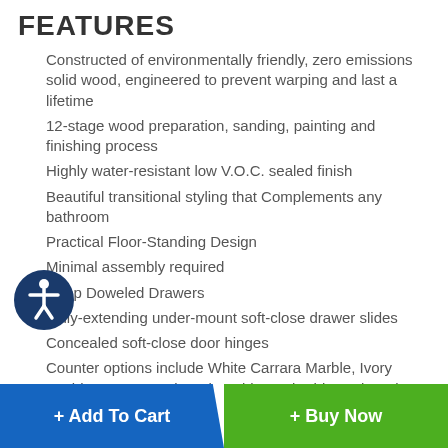FEATURES
Constructed of environmentally friendly, zero emissions solid wood, engineered to prevent warping and last a lifetime
12-stage wood preparation, sanding, painting and finishing process
Highly water-resistant low V.O.C. sealed finish
Beautiful transitional styling that Complements any bathroom
Practical Floor-Standing Design
Minimal assembly required
Deep Doweled Drawers
Fully-extending under-mount soft-close drawer slides
Concealed soft-close door hinges
Counter options include White Carrara Marble, Ivory Marble, Carrara Cultured Marble, and White Cultured Marble
+ Add To Cart   + Buy Now